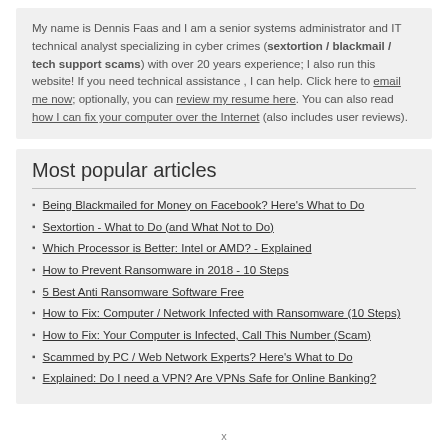My name is Dennis Faas and I am a senior systems administrator and IT technical analyst specializing in cyber crimes (sextortion / blackmail / tech support scams) with over 20 years experience; I also run this website! If you need technical assistance , I can help. Click here to email me now; optionally, you can review my resume here. You can also read how I can fix your computer over the Internet (also includes user reviews).
Most popular articles
Being Blackmailed for Money on Facebook? Here's What to Do
Sextortion - What to Do (and What Not to Do)
Which Processor is Better: Intel or AMD? - Explained
How to Prevent Ransomware in 2018 - 10 Steps
5 Best Anti Ransomware Software Free
How to Fix: Computer / Network Infected with Ransomware (10 Steps)
How to Fix: Your Computer is Infected, Call This Number (Scam)
Scammed by PC / Web Network Experts? Here's What to Do
Explained: Do I need a VPN? Are VPNs Safe for Online Banking?
x